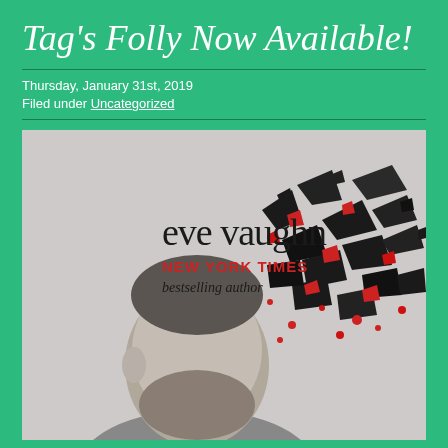Tag's Folly Now Available!
Thursday, January 31st, 2019
Filed under Uncategorized
[Figure (illustration): Book cover for 'Tag's Folly' by Eve Vaughn, New York Times bestselling author. Black and white photo of a bearded man looking upward, with dramatic black and red shattering/explosion effect emanating from his head area. Author name 'eve vaughn' in large serif text, 'NEW YORK TIMES' in red, 'bestselling author' in black below.]